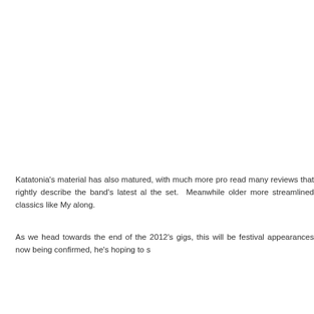Katatonia's material has also matured, with much more pro read many reviews that rightly describe the band's latest al the set.  Meanwhile older more streamlined classics like My along.
As we head towards the end of the 2012's gigs, this will be festival appearances now being confirmed, he's hoping to s